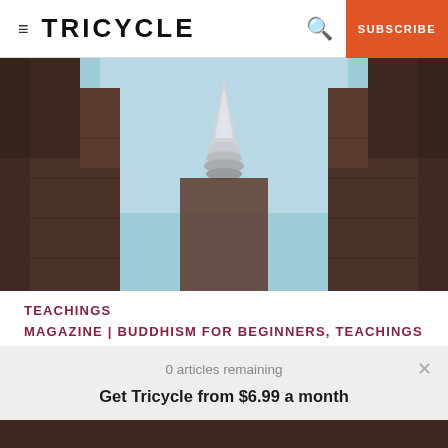≡ TRICYCLE  🔍  SUBSCRIBE
[Figure (photo): Upward view of a Buddhist temple spire or finial between stone battlements against a blue sky]
TEACHINGS
MAGAZINE | BUDDHISM FOR BEGINNERS, TEACHINGS
0 articles remaining
Get Tricycle from $6.99 a month
SUBSCRIBE NOW   Log In